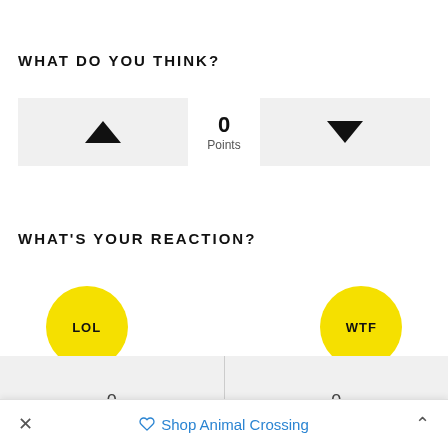WHAT DO YOU THINK?
[Figure (infographic): Voting widget with upvote button (up triangle), 0 Points score, and downvote button (down triangle)]
WHAT'S YOUR REACTION?
[Figure (infographic): Reaction buttons: LOL (yellow circle) and WTF (yellow circle)]
| 0 | 0 |
× Shop Animal Crossing ^